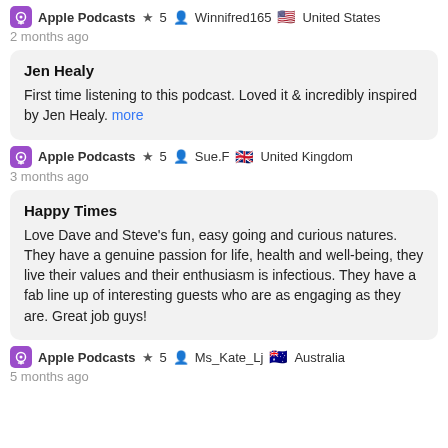Apple Podcasts ★ 5 Winnifred165 🇺🇸 United States
2 months ago
Jen Healy
First time listening to this podcast. Loved it & incredibly inspired by Jen Healy. more
Apple Podcasts ★ 5 Sue.F 🇬🇧 United Kingdom
3 months ago
Happy Times
Love Dave and Steve's fun, easy going and curious natures. They have a genuine passion for life, health and well-being, they live their values and their enthusiasm is infectious. They have a fab line up of interesting guests who are as engaging as they are. Great job guys!
Apple Podcasts ★ 5 Ms_Kate_Lj 🇦🇺 Australia
5 months ago